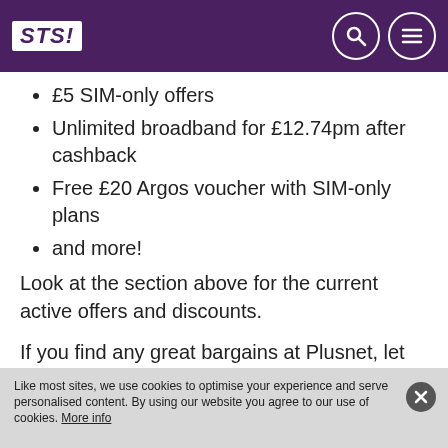STS! [logo] [search icon] [menu icon]
£5 SIM-only offers
Unlimited broadband for £12.74pm after cashback
Free £20 Argos voucher with SIM-only plans
and more!
Look at the section above for the current active offers and discounts.
If you find any great bargains at Plusnet, let us know and we'll add them to this page. Don't forget to keep checking back for the most recent Plusnet offers, sales and deals.
Like most sites, we use cookies to optimise your experience and serve personalised content. By using our website you agree to our use of cookies. More info